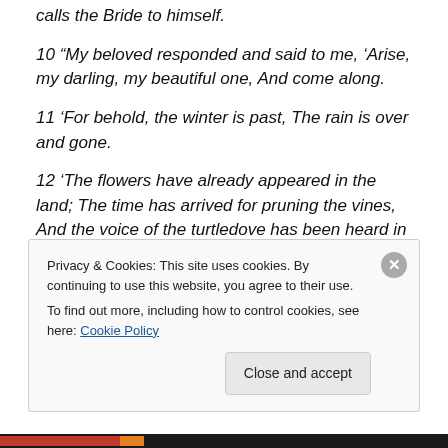calls the Bride to himself.
10 “My beloved responded and said to me, ‘Arise, my darling, my beautiful one, And come along.
11 ‘For behold, the winter is past, The rain is over and gone.
12 ‘The flowers have already appeared in the land; The time has arrived for pruning the vines, And the voice of the turtledove has been heard in our land.
13 ‘The fig tree has ripened its figs, And the vines in
Privacy & Cookies: This site uses cookies. By continuing to use this website, you agree to their use.
To find out more, including how to control cookies, see here: Cookie Policy
Close and accept